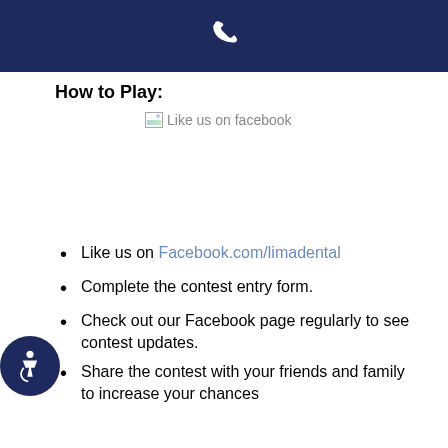[Figure (other): Dark navy blue header bar with a white phone/handset icon centered]
How to Play:
[Figure (other): Broken image placeholder showing 'Like us on facebook' text in gray]
Like us on Facebook.com/limadental
Complete the contest entry form.
Check out our Facebook page regularly to see contest updates.
Share the contest with your friends and family to increase your chances